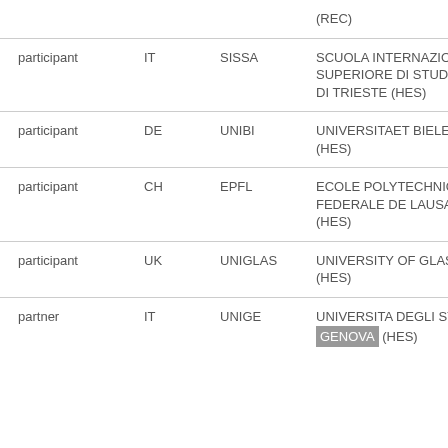| Role | Country | Short name | Full name |
| --- | --- | --- | --- |
|  |  |  | (REC) |
| participant | IT | SISSA | SCUOLA INTERNAZIONALE SUPERIORE DI STUDI AVANZATI DI TRIESTE (HES) |
| participant | DE | UNIBI | UNIVERSITAET BIELEFELD (HES) |
| participant | CH | EPFL | ECOLE POLYTECHNIQUE FEDERALE DE LAUSANNE (HES) |
| participant | UK | UNIGLAS | UNIVERSITY OF GLASGOW (HES) |
| partner | IT | UNIGE | UNIVERSITA DEGLI STUDI DI GENOVA (HES) |